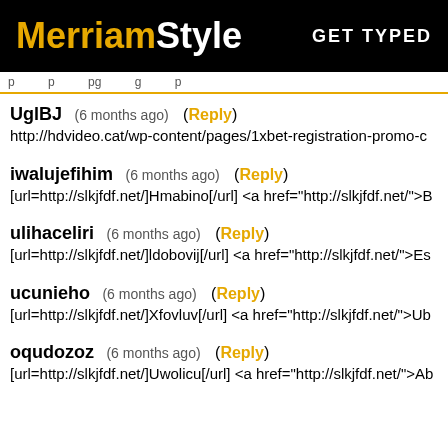MerriamStyle GET TYPED
UglBJ (6 months ago) (Reply) http://hdvideo.cat/wp-content/pages/1xbet-registration-promo-c
iwalujefihim (6 months ago) (Reply) [url=http://slkjfdf.net/]Hmabino[/url] <a href="http://slkjfdf.net/">B
ulihaceliri (6 months ago) (Reply) [url=http://slkjfdf.net/]ldobovij[/url] <a href="http://slkjfdf.net/">Es
ucunieho (6 months ago) (Reply) [url=http://slkjfdf.net/]Xfovluv[/url] <a href="http://slkjfdf.net/">Ub
oqudozoz (6 months ago) (Reply) [url=http://slkjfdf.net/]Uwolicu[/url] <a href="http://slkjfdf.net/">Ab